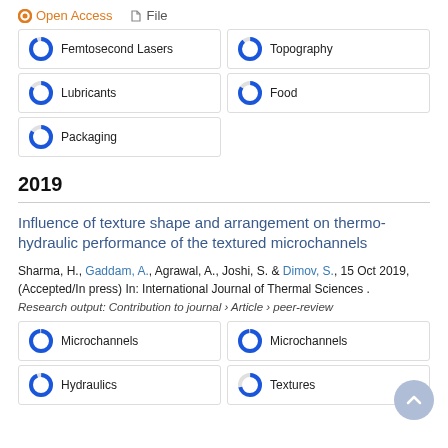Open Access   File
Femtosecond Lasers
Topography
Lubricants
Food
Packaging
2019
Influence of texture shape and arrangement on thermo-hydraulic performance of the textured microchannels
Sharma, H., Gaddam, A., Agrawal, A., Joshi, S. & Dimov, S., 15 Oct 2019, (Accepted/In press) In: International Journal of Thermal Sciences .
Research output: Contribution to journal › Article › peer-review
Microchannels
Microchannels
Hydraulics
Textures